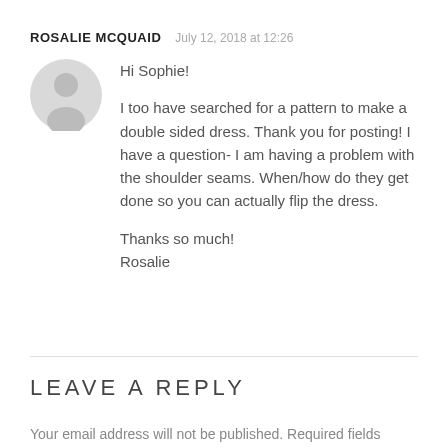ROSALIE MCQUAID
July 12, 2018 at 12:26
[Figure (illustration): Generic gray avatar icon showing a silhouetted person]
Hi Sophie!

I too have searched for a pattern to make a double sided dress. Thank you for posting! I have a question- I am having a problem with the shoulder seams. When/how do they get done so you can actually flip the dress.

Thanks so much!
Rosalie
LEAVE A REPLY
Your email address will not be published. Required fields